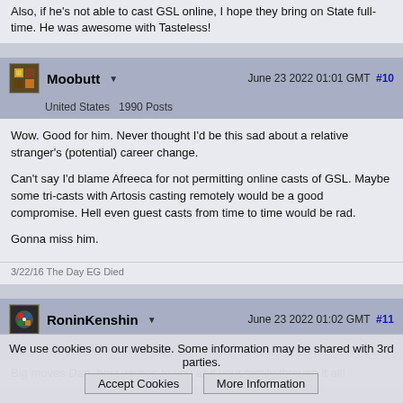Also, if he's not able to cast GSL online, I hope they bring on State full-time. He was awesome with Tasteless!
Moobutt
June 23 2022 01:01 GMT  #10
United States  1990 Posts
Wow. Good for him. Never thought I'd be this sad about a relative stranger's (potential) career change.

Can't say I'd blame Afreeca for not permitting online casts of GSL. Maybe some tri-casts with Artosis casting remotely would be a good compromise. Hell even guest casts from time to time would be rad.

Gonna miss him.
3/22/16 The Day EG Died
RoninKenshin
June 23 2022 01:02 GMT  #11
Canada  94 Posts
Big moves Dan, best wishes to you and your family through it all!
We use cookies on our website. Some information may be shared with 3rd parties.  Accept Cookies   More Information